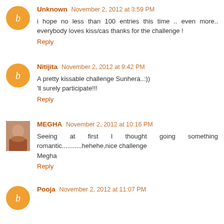Unknown November 2, 2012 at 3:59 PM
i hope no less than 100 entries this time .. even more.. everybody loves kiss/cas thanks for the challenge !
Reply
Nitijita November 2, 2012 at 9:42 PM
A pretty kissable challenge Sunhera..:))
'll surely participate!!!
Reply
MEGHA November 2, 2012 at 10:16 PM
Seeing at first I thought going something romantic...........hehehe,nice challenge
Megha
Reply
Pooja November 2, 2012 at 11:07 PM